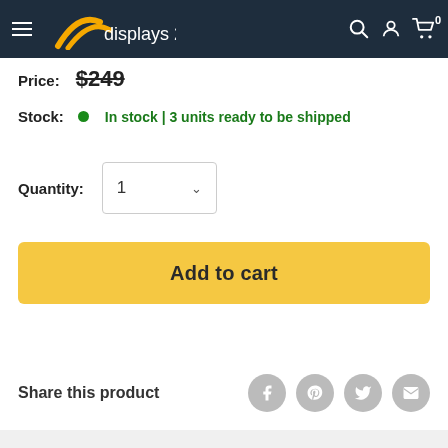displays 24/7
Price: $249
Stock: In stock | 3 units ready to be shipped
Quantity: 1
Add to cart
Share this product